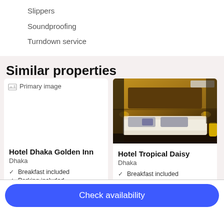Slippers
Soundproofing
Turndown service
Similar properties
[Figure (photo): Primary image placeholder for Hotel Dhaka Golden Inn]
Hotel Dhaka Golden Inn
Dhaka
✓ Breakfast included
✓ Parking included
[Figure (photo): Photo of a hotel room with a double bed, warm lighting, dark headboard, and yellow curtains — Hotel Tropical Daisy]
Hotel Tropical Daisy
Dhaka
✓ Breakfast included
✓ Parking included
Check availability